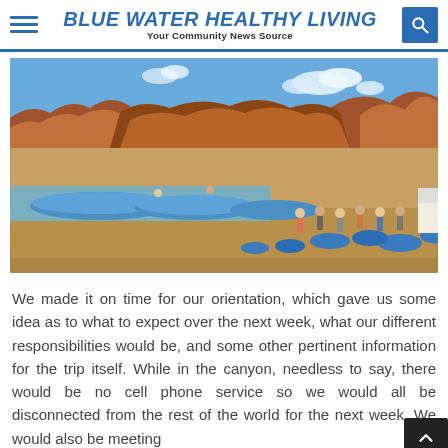BLUE WATER HEALTHY LIVING — Your Community News Source
[Figure (photo): Group of people with blue rafts on a sandy riverbank with red rock canyon walls and blue sky in the background]
We made it on time for our orientation, which gave us some idea as to what to expect over the next week, what our different responsibilities would be, and some other pertinent information for the trip itself. While in the canyon, needless to say, there would be no cell phone service so we would all be disconnected from the rest of the world for the next week. We would also be meeting...